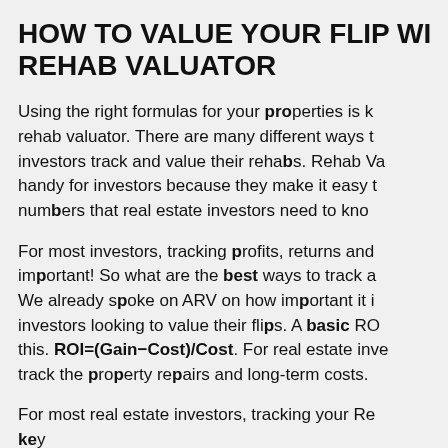HOW TO VALUE YOUR FLIP WITH REHAB VALUATOR
Using the right formulas for your properties is key to a rehab valuator. There are many different ways that investors track and value their rehabs. Rehab Valuators are handy for investors because they make it easy to track numbers that real estate investors need to know.
For most investors, tracking profits, returns and costs are important! So what are the best ways to track all of this? We already spoke on ARV on how important it is for investors looking to value their flips. A basic ROI looks like this. ROI=(Gain-Cost)/Cost. For real estate investors, track the property repairs and long-term costs.
For most real estate investors, tracking your Re... key...